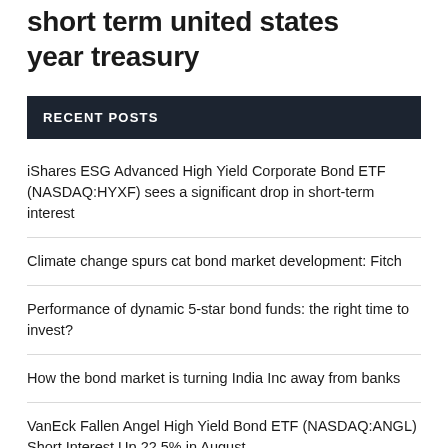short term united states year treasury
RECENT POSTS
iShares ESG Advanced High Yield Corporate Bond ETF (NASDAQ:HYXF) sees a significant drop in short-term interest
Climate change spurs cat bond market development: Fitch
Performance of dynamic 5-star bond funds: the right time to invest?
How the bond market is turning India Inc away from banks
VanEck Fallen Angel High Yield Bond ETF (NASDAQ:ANGL) Short Interest Up 22.5% in August